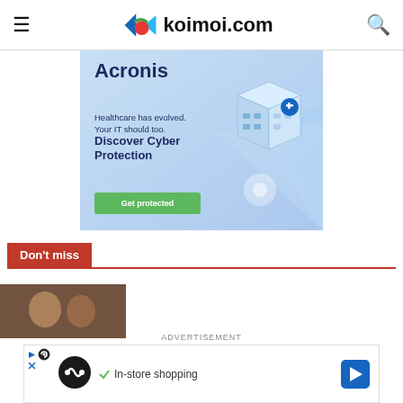koimoi.com
[Figure (illustration): Acronis advertisement banner. Light blue background with isometric building illustration. Text: 'Acronis', 'Healthcare has evolved. Your IT should too.', 'Discover Cyber Protection', green button 'Get protected'.]
Don't miss
[Figure (photo): Partial thumbnail image strip at bottom of page]
ADVERTISEMENT
[Figure (infographic): Bottom advertisement banner with circular logo icon, checkmark and 'In-store shopping' text, and blue navigation arrow icon on right. Small AdChoices icons on left.]